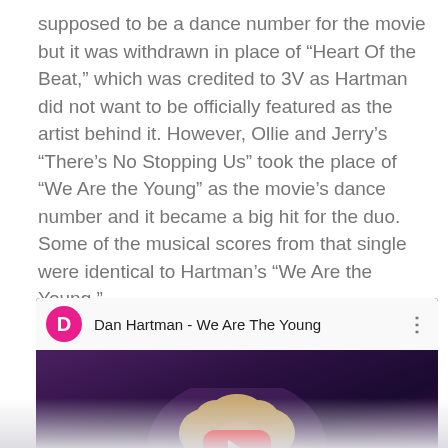supposed to be a dance number for the movie but it was withdrawn in place of “Heart Of the Beat,” which was credited to 3V as Hartman did not want to be officially featured as the artist behind it. However, Ollie and Jerry’s “There’s No Stopping Us” took the place of “We Are the Young” as the movie’s dance number and it became a big hit for the duo. Some of the musical scores from that single were identical to Hartman’s “We Are the Young.”
[Figure (screenshot): YouTube video embed showing 'Dan Hartman - We Are The Young' with a pink D avatar icon, video title, three-dot menu, and a thumbnail showing a person with curly hair with a red YouTube play button overlay.]